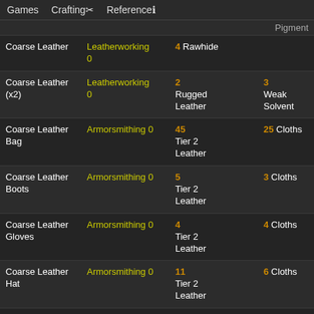Games   Crafting   Reference
Pigment
| Item | Skill | Material 1 | Material 2 |
| --- | --- | --- | --- |
| Coarse Leather | Leatherworking 0 | 4 Rawhide |  |
| Coarse Leather (x2) | Leatherworking 0 | 2 Rugged Leather | 3 Weak Solvent |
| Coarse Leather Bag | Armorsmithing 0 | 45 Tier 2 Leather | 25 Cloths |
| Coarse Leather Boots | Armorsmithing 0 | 5 Tier 2 Leather | 3 Cloths |
| Coarse Leather Gloves | Armorsmithing 0 | 4 Tier 2 Leather | 4 Cloths |
| Coarse Leather Hat | Armorsmithing 0 | 11 Tier 2 Leather | 6 Cloths |
| Coarse Leather Parts | Armorsmithing 0 | 10 Tier 2 | 6 Cloths |